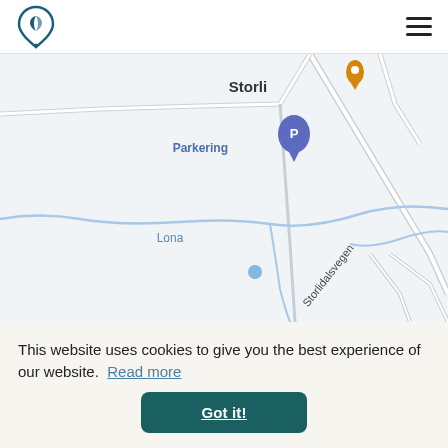[Logo] [Hamburger menu icon]
[Figure (map): Google Maps screenshot showing a Norwegian area with roads, a 'Parkering' (Parking) pin marker labeled P, a road labeled 'Storlidalsvegen', place labels 'Storli', 'Lona', and a water feature (river/stream). The map has a light grey/blue color scheme typical of Google Maps.]
This website uses cookies to give you the best experience of our website. Read more
Got it!